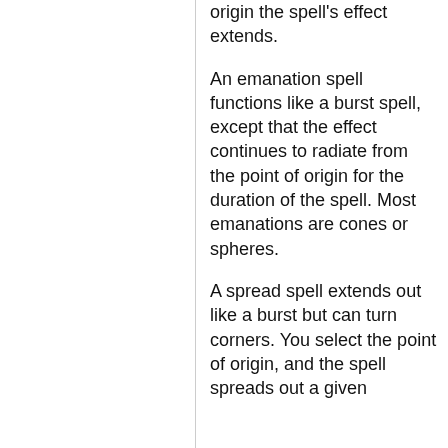origin the spell's effect extends.
An emanation spell functions like a burst spell, except that the effect continues to radiate from the point of origin for the duration of the spell. Most emanations are cones or spheres.
A spread spell extends out like a burst but can turn corners. You select the point of origin, and the spell spreads out a given